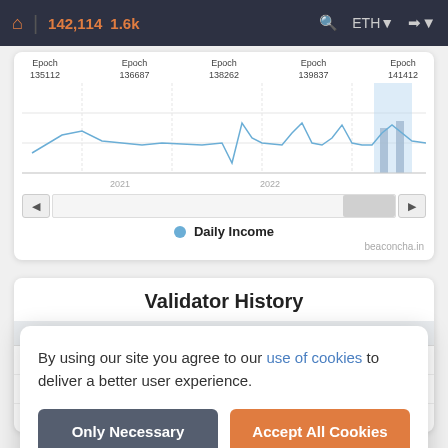142,114  1.6k  ETH
[Figure (continuous-plot): A line chart showing Daily Income over time from 2021 to 2022, with epoch numbers on the x-axis (135112, 136687, 138262, 139837, 141412). The line is in light blue with a highlighted region near the right end. Y-axis values not labeled. A scroll/zoom bar is below the chart.]
Daily Income
beaconcha.in
Validator History
| Ep |  |  |
| --- | --- | --- |
| 14... |  |  |
| 14... |  |  |
| 142,112 | +0.00001 ETH | Att. |
By using our site you agree to our use of cookies to deliver a better user experience.
Only Necessary
Accept All Cookies